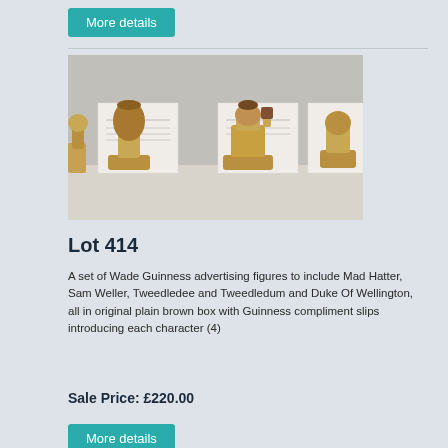More details
[Figure (photo): Photograph of Wade Guinness advertising ceramic figurines displayed in a row, showing characters including Mad Hatter, Sam Weller, Tweedledee, Tweedledum and Duke of Wellington, in golden-brown glaze, with white compliment slips behind each figure.]
Lot 414
A set of Wade Guinness advertising figures to include Mad Hatter, Sam Weller, Tweedledee and Tweedledum and Duke Of Wellington, all in original plain brown box with Guinness compliment slips introducing each character (4)
Sale Price: £220.00
More details